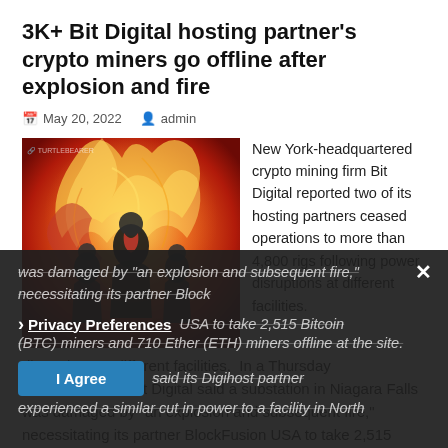3K+ Bit Digital hosting partner's crypto miners go offline after explosion and fire
May 20, 2022   admin
[Figure (illustration): Action illustration showing three figures amid orange and red explosion flames, with a small logo in top left corner.]
New York-headquartered crypto mining firm Bit Digital reported two of its hosting partners ceased operations to more than 4,800 rigs following power disruptions at different facilities.  In a Thursday announcement, Bit Digital said a substation in Niagara Falls was damaged by "an explosion and subsequent fire," necessitating its partner BlockFusion USA to take 2,515 Bitcoin (BTC) miners and 710 Ether (ETH) miners offline at the site. In addition, the mining firm said its Digihost partner experienced a similar cut in power to a facility in North
Privacy Preferences
I Agree